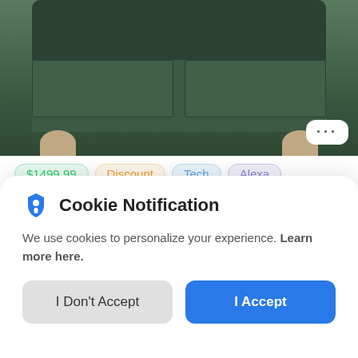[Figure (photo): Photo of a dark green sofa/couch viewed from front, with wooden legs visible at bottom corners, against a matching green background.]
$1499.99  Discount  Tech  Alexa
LG Soundbar S95QR 9.1.5-Channel Cinematic Speaker
Cookie Notification
We use cookies to personalize your experience. Learn more here.
I Don't Accept | I Accept